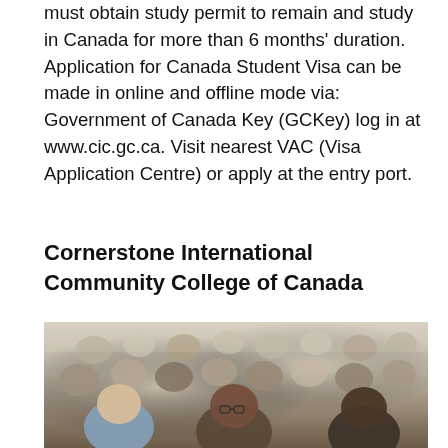must obtain study permit to remain and study in Canada for more than 6 months' duration. Application for Canada Student Visa can be made in online and offline mode via: Government of Canada Key (GCKey) log in at www.cic.gc.ca. Visit nearest VAC (Visa Application Centre) or apply at the entry port.
Cornerstone International Community College of Canada
[Figure (photo): A large lecture hall filled with diverse students sitting and listening attentively. A young woman with glasses is prominently visible in the foreground.]